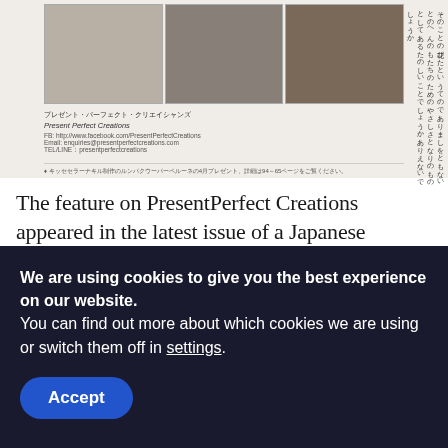[Figure (photo): Scanned magazine page showing photographs of floral arrangements at the top, with Japanese text columns on the right and English/Japanese caption text below the photos. Title reads 'Present Perfect Creations' with a Facebook URL and other contact info.]
The feature on PresentPerfect Creations appeared in the latest issue of a Japanese floristry magazine called Flower Fashion, vol.10 http://www.nfd.or.jp/hana-fashion. This issue is devoted to artificial flowers, so my pieces are just the right fit for it. There are a number of Japanese artists who make artificial flowers too. What's attracted the editor to hi ft d ti l th t th fl
We are using cookies to give you the best experience on our website.
You can find out more about which cookies we are using or switch them off in settings.
Accept